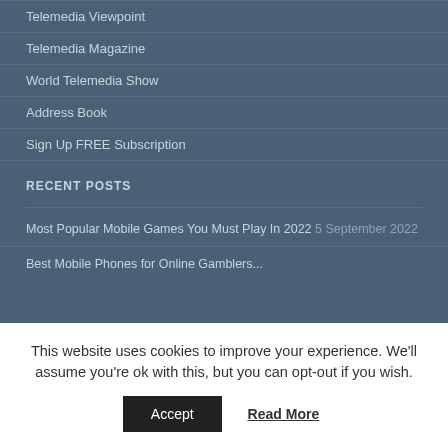Telemedia Viewpoint
Telemedia Magazine
World Telemedia Show
Address Book
Sign Up FREE Subscription
RECENT POSTS
Most Popular Mobile Games You Must Play In 2022 5 September 2022
Best Mobile Phones for Online Gamblers...
This website uses cookies to improve your experience. We'll assume you're ok with this, but you can opt-out if you wish.